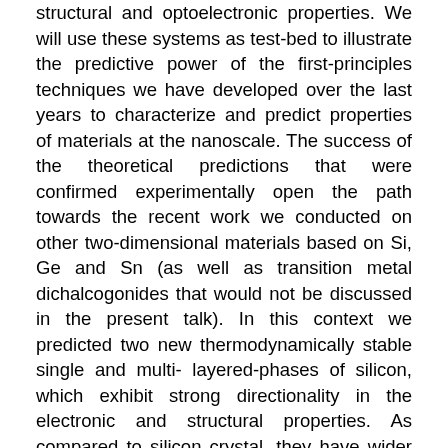structural and optoelectronic properties. We will use these systems as test-bed to illustrate the predictive power of the first-principles techniques we have developed over the last years to characterize and predict properties of materials at the nanoscale. The success of the theoretical predictions that were confirmed experimentally open the path towards the recent work we conducted on other two-dimensional materials based on Si, Ge and Sn (as well as transition metal dichalcogonides that would not be discussed in the present talk). In this context we predicted two new thermodynamically stable single and multi- layered-phases of silicon, which exhibit strong directionality in the electronic and structural properties. As compared to silicon crystal, they have wider indirect band gaps but also increased absorption in the visible range making them more interesting for photovoltaic applications. Moreover, the intrinsic two-dimensional confinement and strong electron-phonon coupling make them a candidate material for thermoelectricity and superconductivity. These stable phases consist of intrinsic stacking faulted (SF)